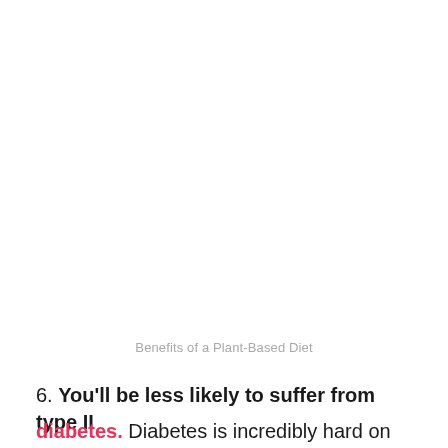Benefits of a Plant-Based Diet
6. You'll be less likely to suffer from type II diabetes. Diabetes is incredibly hard on your organs